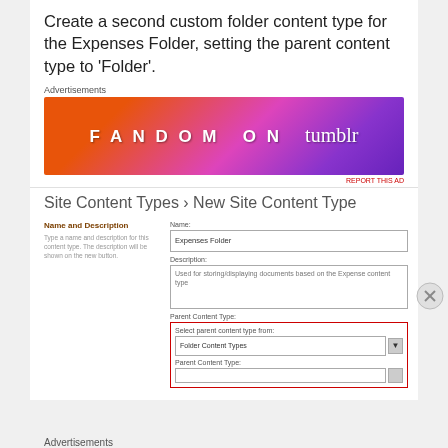Create a second custom folder content type for the Expenses Folder, setting the parent content type to ‘Folder’.
Advertisements
[Figure (illustration): Fandom on Tumblr advertisement banner with orange-to-purple gradient background and decorative doodles]
REPORT THIS AD
Site Content Types ‹ New Site Content Type
[Figure (screenshot): SharePoint New Site Content Type form showing Name field with 'Expenses Folder', Description field with 'Used for storing/displaying documents based on the Expense content type', Parent Content Type section with 'Folder Content Types' dropdown selected, highlighted in red border]
Advertisements